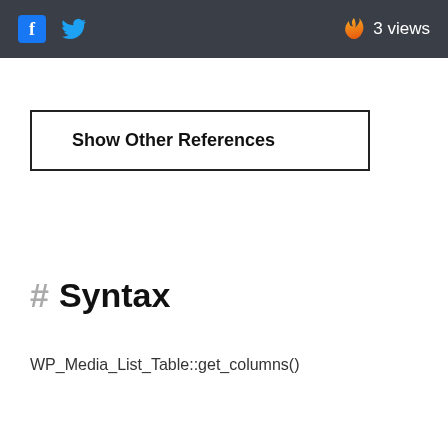f [facebook icon] [twitter icon]   🔥 3 views
Show Other References
# Syntax
WP_Media_List_Table::get_columns()